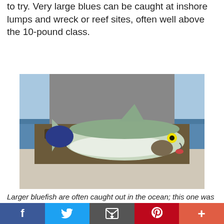to try. Very large blues can be caught at inshore lumps and wreck or reef sites, often well above the 10-pound class.
[Figure (photo): A person in camouflage waders and a grey hoodie holds up a large bluefish on a boat, with the ocean visible in the background.]
Larger bluefish are often caught out in the ocean; this one was hooked at the Jack Spot.
Bluefish will also hit baits cast into the surf, and most
f   Twitter bird   email   p   +